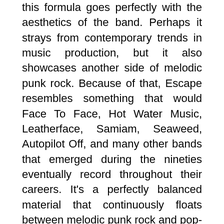this formula goes perfectly with the aesthetics of the band. Perhaps it strays from contemporary trends in music production, but it also showcases another side of melodic punk rock. Because of that, Escape resembles something that would Face To Face, Hot Water Music, Leatherface, Samiam, Seaweed, Autopilot Off, and many other bands that emerged during the nineties eventually record throughout their careers. It's a perfectly balanced material that continuously floats between melodic punk rock and pop-punk sound but spiced up with abrasive production that showcases the aggressive side of the group.
Clayton demonstrates how melodic punk rock can sound amazing without loads of cash spent on expensive production and mastering. They solely relied upon their ideas, skills, and music abilities to produce a solid debut that will undoubtfully suit